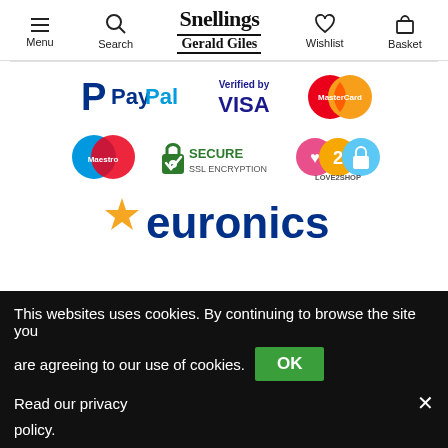Menu | Search | Snellings Gerald Giles | Wishlist | Basket
[Figure (logo): Payment and trust logos: PayPal, Verified by VISA, MasterCard, Maestro, Secure SSL Encryption, Love2Shop, Euronics]
This websites uses cookies. By continuing to browse the site you are agreeing to our use of cookies. OK Read our privacy policy.